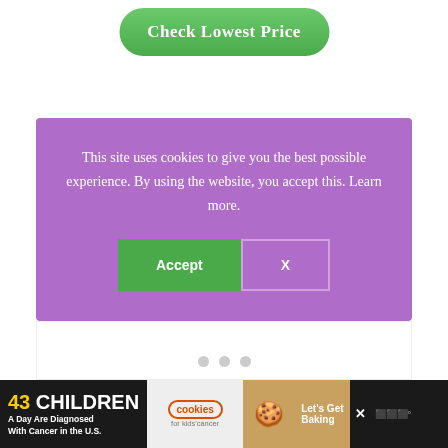[Figure (screenshot): Green rounded button labeled 'Check Lowest Price']
[Figure (screenshot): Purple cookie consent banner with text and Accept/X buttons]
[Figure (screenshot): Advertisement banner at the bottom: '43 Children A Day Are Diagnosed With Cancer in the U.S.' with cookies for kids cancer branding and Let's Get Baking text]